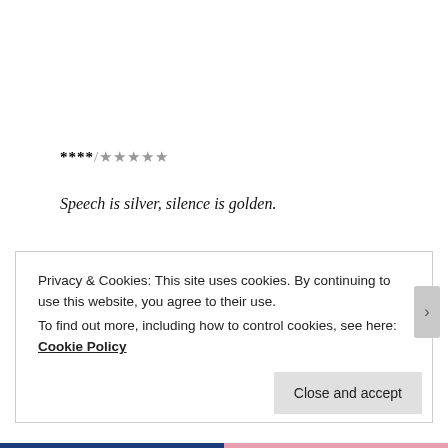****/******
Speech is silver, silence is golden.
The old proverb has turned into a post-apocalyptic motivational poster in the brave new world John Krasinski has created with A Quiet Place, one in which survivors of an alien attack must mute their every
Privacy & Cookies: This site uses cookies. By continuing to use this website, you agree to their use.
To find out more, including how to control cookies, see here: Cookie Policy
Close and accept